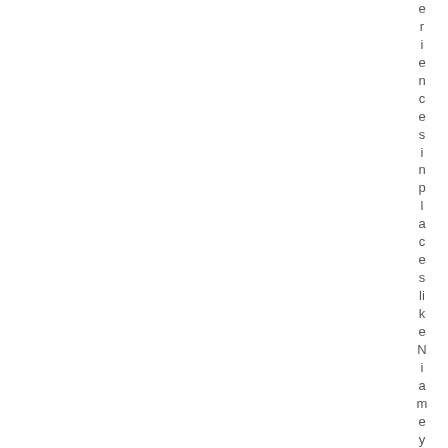[Figure (other): Page with two vertical columns: a white column on the left and a light blue-grey column on the right, with vertically-oriented text running down the right edge reading 'eriences in places like Niamey and Nd' (partial, text is clipped)]
eriences in places like Niamey and Nd